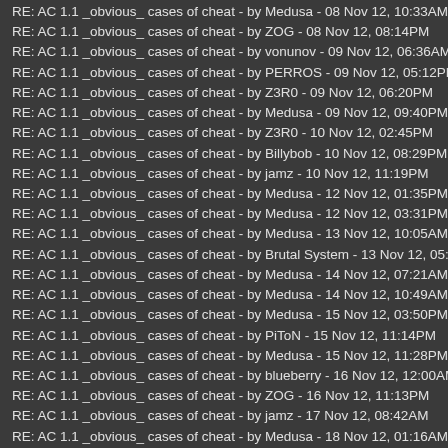RE: AC 1.1 _obvious_ cases of cheat - by Medusa - 08 Nov 12, 10:33AM
RE: AC 1.1 _obvious_ cases of cheat - by ZOG - 08 Nov 12, 08:14PM
RE: AC 1.1 _obvious_ cases of cheat - by vonunov - 09 Nov 12, 06:36AM
RE: AC 1.1 _obvious_ cases of cheat - by PERROS - 09 Nov 12, 05:12PM
RE: AC 1.1 _obvious_ cases of cheat - by Z3R0 - 09 Nov 12, 06:20PM
RE: AC 1.1 _obvious_ cases of cheat - by Medusa - 09 Nov 12, 09:40PM
RE: AC 1.1 _obvious_ cases of cheat - by Z3R0 - 10 Nov 12, 02:45PM
RE: AC 1.1 _obvious_ cases of cheat - by Billybob - 10 Nov 12, 08:29PM
RE: AC 1.1 _obvious_ cases of cheat - by jamz - 10 Nov 12, 11:19PM
RE: AC 1.1 _obvious_ cases of cheat - by Medusa - 12 Nov 12, 01:35PM
RE: AC 1.1 _obvious_ cases of cheat - by Medusa - 12 Nov 12, 03:31PM
RE: AC 1.1 _obvious_ cases of cheat - by Medusa - 13 Nov 12, 10:05AM
RE: AC 1.1 _obvious_ cases of cheat - by Brutal System - 13 Nov 12, 05:14PM
RE: AC 1.1 _obvious_ cases of cheat - by Medusa - 14 Nov 12, 07:21AM
RE: AC 1.1 _obvious_ cases of cheat - by Medusa - 14 Nov 12, 10:49AM
RE: AC 1.1 _obvious_ cases of cheat - by Medusa - 15 Nov 12, 03:50PM
RE: AC 1.1 _obvious_ cases of cheat - by PiToN - 15 Nov 12, 11:14PM
RE: AC 1.1 _obvious_ cases of cheat - by Medusa - 15 Nov 12, 11:28PM
RE: AC 1.1 _obvious_ cases of cheat - by blueberry - 16 Nov 12, 12:00AM
RE: AC 1.1 _obvious_ cases of cheat - by ZOG - 16 Nov 12, 11:13PM
RE: AC 1.1 _obvious_ cases of cheat - by jamz - 17 Nov 12, 08:42AM
RE: AC 1.1 _obvious_ cases of cheat - by Medusa - 18 Nov 12, 01:16AM
RE: AC 1.1 _obvious_ cases of cheat - by Thrawn - 18 Nov 12, 05:30AM
RE: AC 1.1 _obvious_ cases of cheat - by Medusa - 19 Nov 12, 12:03AM
RE: AC 1.1 _obvious_ cases of cheat - by [SODA]___ME___ - 19 Nov 12, 12:1